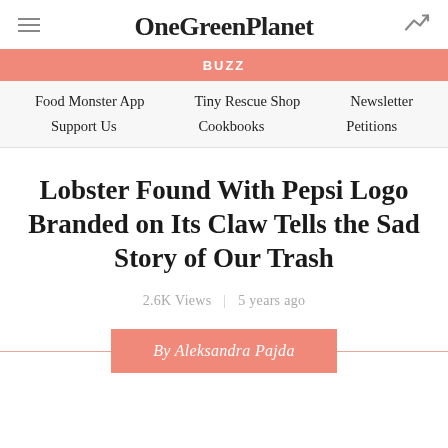OneGreenPlanet
BUZZ
Food Monster App   Tiny Rescue Shop   Newsletter   Support Us   Cookbooks   Petitions
Lobster Found With Pepsi Logo Branded on Its Claw Tells the Sad Story of Our Trash
2.6K Views   5 years ago
By Aleksandra Pajda